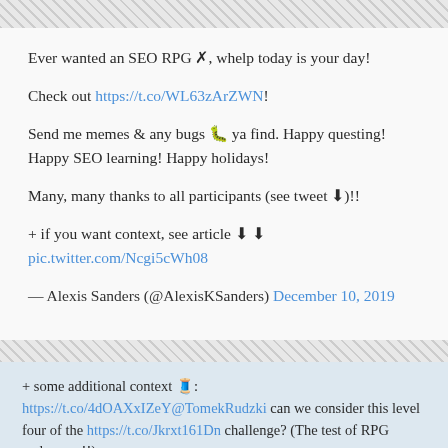Ever wanted an SEO RPG ✗, whelp today is your day!
Check out https://t.co/WL63zArZWN!
Send me memes & any bugs 🐛 ya find. Happy questing! Happy SEO learning! Happy holidays!
Many, many thanks to all participants (see tweet ⬇️)!!
+ if you want context, see article ⬇️ ⬇️ pic.twitter.com/Ncgi5cWh08
— Alexis Sanders (@AlexisKSanders) December 10, 2019
+ some additional context 🧵: https://t.co/4dOAXxIZeY @TomekRudzki can we consider this level four of the https://t.co/Jkrxt161Dn challenge? (The test of RPG endurance!!)